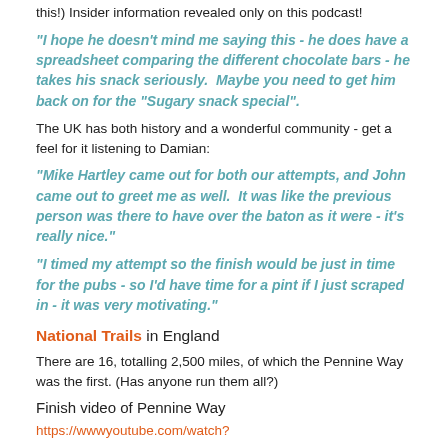this!) Insider information revealed only on this podcast!
"I hope he doesn't mind me saying this - he does have a spreadsheet comparing the different chocolate bars - he takes his snack seriously.  Maybe you need to get him back on for the "Sugary snack special".
The UK has both history and a wonderful community - get a feel for it listening to Damian:
"Mike Hartley came out for both our attempts, and John came out to greet me as well.  It was like the previous person was there to have over the baton as it were - it's really nice."
"I timed my attempt so the finish would be just in time for the pubs - so I'd have time for a pint if I just scraped in - it was very motivating."
National Trails in England
There are 16, totalling 2,500 miles, of which the Pennine Way was the first. (Has anyone run them all?)
Finish video of Pennine Way
https://wwwyoutube.com/watch?